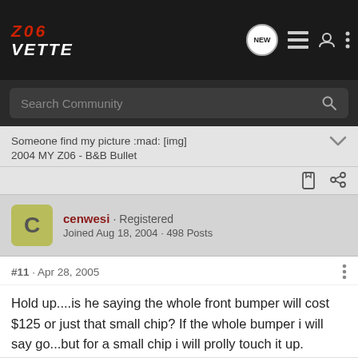Z06 VETTE
Search Community
Someone find my picture :mad: [img]
2004 MY Z06 - B&B Bullet
cenwesi · Registered
Joined Aug 18, 2004 · 498 Posts
#11 · Apr 28, 2005
Hold up....is he saying the whole front bumper will cost $125 or just that small chip? If the whole bumper i will say go...but for a small chip i will prolly touch it up.